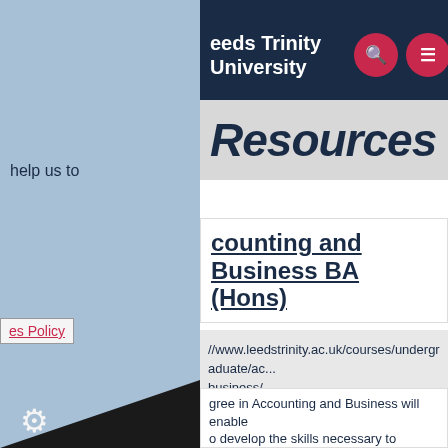Leeds Trinity University
Resources
help us to
es Policy
Accounting and Business BA (Hons)
https://www.leedstrinity.ac.uk/courses/undergraduate/accounting-and-business/
A degree in Accounting and Business will enable you to develop the skills necessary to influence and inform business operations and strategy. Enabling you to drive policy and deliver jobs, prosperity and wealth, this degree programme will open the door to a wide range of challenging and rewarding career opportunities in the UK and abroad.